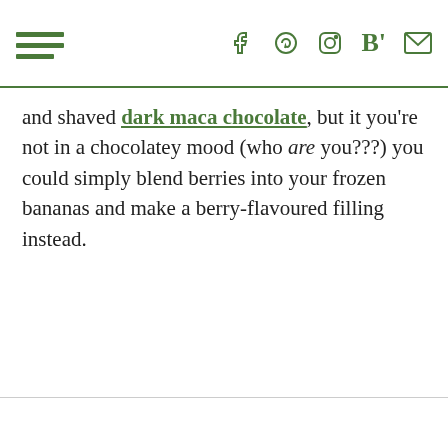☰ f p ⊙ B' ✉
and shaved dark maca chocolate, but it you're not in a chocolatey mood (who are you???) you could simply blend berries into your frozen bananas and make a berry-flavoured filling instead.